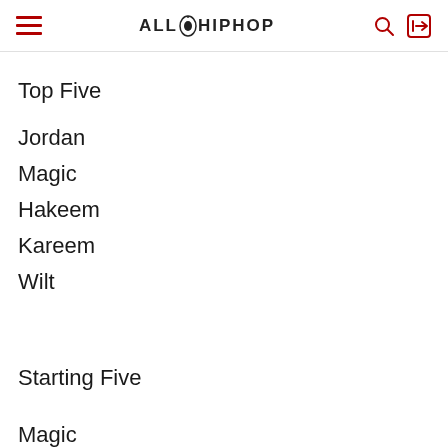ALL HIP HOP
Top Five
Jordan
Magic
Hakeem
Kareem
Wilt
Starting Five
Magic